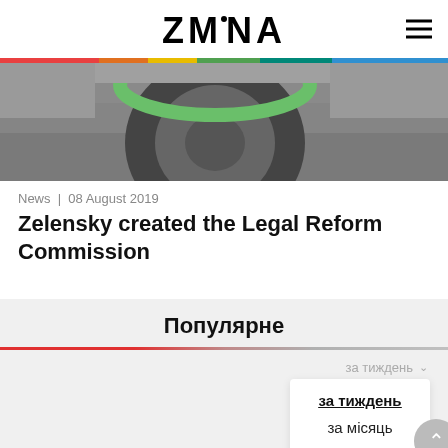ZMINA
[Figure (photo): Close-up photo of a vehicle wheel/tire on a road surface, showing part of a green circular element and gray concrete.]
News | 08 August 2019
Zelensky created the Legal Reform Commission
Популярне
за тиждень
за тиждень
за місяць
за рік
вибір редакції